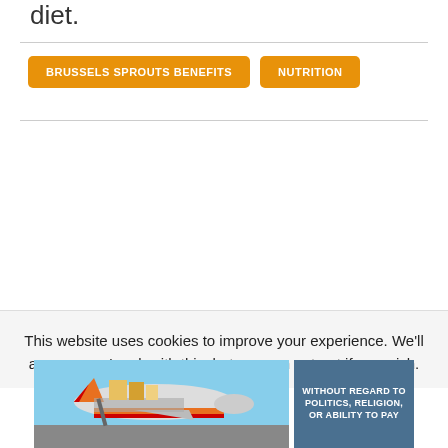diet.
BRUSSELS SPROUTS BENEFITS
NUTRITION
This website uses cookies to improve your experience. We'll assume you're ok with this, but you can opt-out if you wish.
[Figure (photo): Advertisement banner showing an airplane being loaded with cargo, with an overlay panel reading 'WITHOUT REGARD TO POLITICS, RELIGION, OR ABILITY TO PAY']